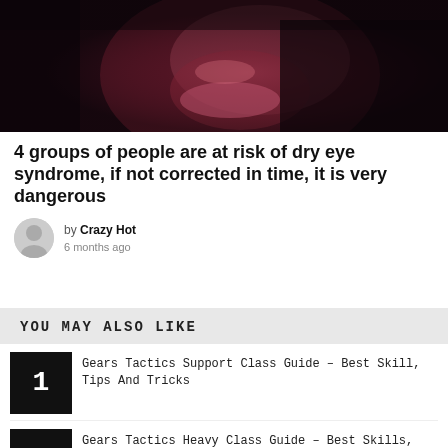[Figure (photo): Dark close-up portrait photo of a person's face with red/pink lighting]
4 groups of people are at risk of dry eye syndrome, if not corrected in time, it is very dangerous
by Crazy Hot
6 months ago
YOU MAY ALSO LIKE
1 Gears Tactics Support Class Guide – Best Skill, Tips And Tricks
2 Gears Tactics Heavy Class Guide – Best Skills, How To Play
3 (partially visible)